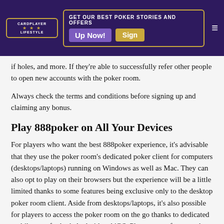CARDPLAYER LIFESTYLE | GET OUR BEST POKER STORIES AND OFFERS | Sign Up Now!
if holes, and more. If they're able to successfully refer other people to open new accounts with the poker room.
Always check the terms and conditions before signing up and claiming any bonus.
Play 888poker on All Your Devices
For players who want the best 888poker experience, it's advisable that they use the poker room's dedicated poker client for computers (desktops/laptops) running on Windows as well as Mac. They can also opt to play on their browsers but the experience will be a little limited thanks to some features being exclusive only to the desktop poker room client. Aside from desktops/laptops, it's also possible for players to access the poker room on the go thanks to dedicated mobile apps for both Android and iOS. Players can of course also choose to use their mobile devices' browsers if they can't be bothered to download